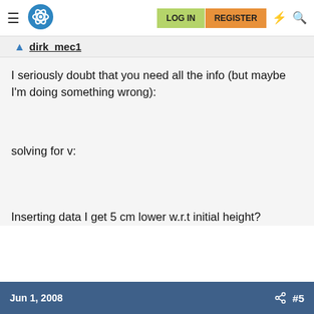LOG IN  REGISTER
dirk_mec1
I seriously doubt that you need all the info (but maybe I'm doing something wrong):
solving for v:
Inserting data I get 5 cm lower w.r.t initial height?
Jun 1, 2008  #5